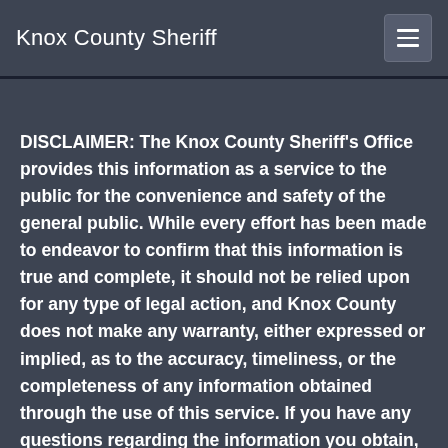Knox County Sheriff
DISCLAIMER: The Knox County Sheriff's Office provides this information as a service to the public for the convenience and safety of the general public. While every effort has been made to endeavor to confirm that this information is true and complete, it should not be relied upon for any type of legal action, and Knox County does not make any warranty, either expressed or implied, as to the accuracy, timeliness, or the completeness of any information obtained through the use of this service. If you have any questions regarding the information you obtain, please call Inmate Services at 865-281-6700.